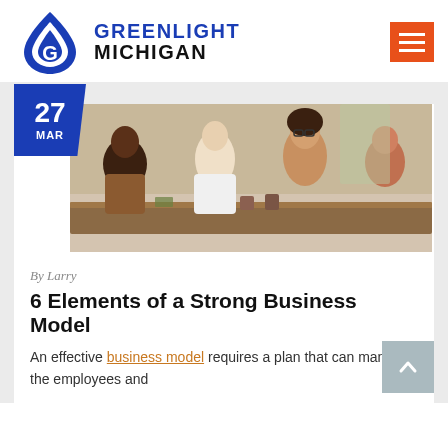Greenlight Michigan
[Figure (logo): Greenlight Michigan logo with blue stylized droplet/G icon and bold text GREENLIGHT MICHIGAN]
[Figure (photo): Group of diverse colleagues at a meeting table, looking engaged in discussion, office setting with plant in background]
By Larry
6 Elements of a Strong Business Model
An effective business model requires a plan that can manage the employees and